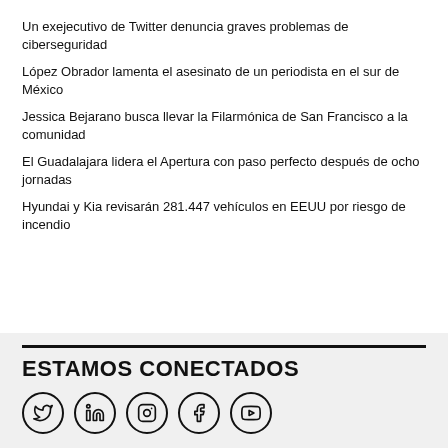Un exejecutivo de Twitter denuncia graves problemas de ciberseguridad
López Obrador lamenta el asesinato de un periodista en el sur de México
Jessica Bejarano busca llevar la Filarmónica de San Francisco a la comunidad
El Guadalajara lidera el Apertura con paso perfecto después de ocho jornadas
Hyundai y Kia revisarán 281.447 vehículos en EEUU por riesgo de incendio
ESTAMOS CONECTADOS
[Figure (illustration): Five social media icons in circles: Twitter (bird), LinkedIn (in), Instagram (camera), Facebook (f), YouTube (play button)]